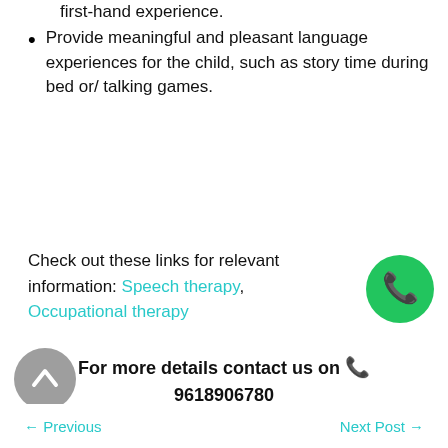first-hand experience.
Provide meaningful and pleasant language experiences for the child, such as story time during bed or/ talking games.
Check out these links for relevant information: Speech therapy, Occupational therapy
For more details contact us on 📞 9618906780
← Previous    Next Post →